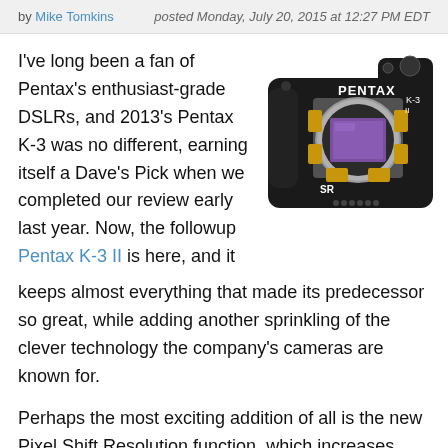by Mike Tomkins   posted Monday, July 20, 2015 at 12:27 PM EDT
I've long been a fan of Pentax's enthusiast-grade DSLRs, and 2013's Pentax K-3 was no different, earning itself a Dave's Pick when we completed our review early last year. Now, the followup Pentax K-3 II is here, and it keeps almost everything that made its predecessor so great, while adding another sprinkling of the clever technology the company's cameras are known for.
[Figure (photo): Pentax K-3 II DSLR camera shown with cutaway view revealing the image sensor and stabilization mechanism. The camera body is black with PENTAX and K-3 II branding visible.]
Perhaps the most exciting addition of all is the new Pixel Shift Resolution function, which increases image resolution